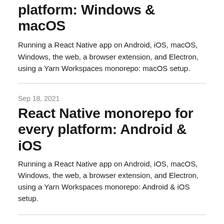platform: Windows & macOS
Running a React Native app on Android, iOS, macOS, Windows, the web, a browser extension, and Electron, using a Yarn Workspaces monorepo: macOS setup.
Sep 18, 2021
React Native monorepo for every platform: Android & iOS
Running a React Native app on Android, iOS, macOS, Windows, the web, a browser extension, and Electron, using a Yarn Workspaces monorepo: Android & iOS setup.
Sep 12, 2021